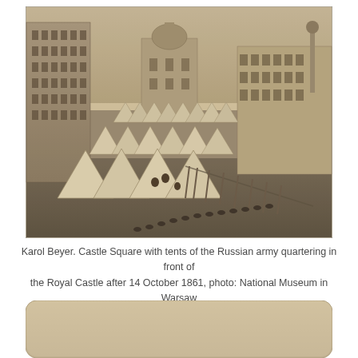[Figure (photo): Historical black-and-white photograph by Karol Beyer showing Castle Square in Warsaw with rows of white military tents of the Russian army quartering in front of the Royal Castle. Buildings and a church dome are visible in the background. Stacked rifles and equipment are arranged in rows between the tents.]
Karol Beyer. Castle Square with tents of the Russian army quartering in front of the Royal Castle after 14 October 1861, photo: National Museum in Warsaw
[Figure (photo): Partial view of another historical photograph, showing a sepia-toned image with rounded corners, partially cut off at the bottom of the page.]